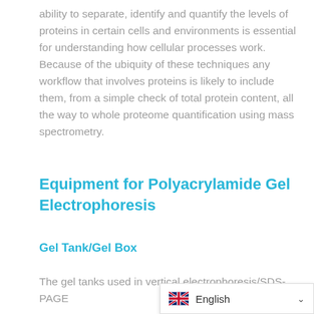ability to separate, identify and quantify the levels of proteins in certain cells and environments is essential for understanding how cellular processes work. Because of the ubiquity of these techniques any workflow that involves proteins is likely to include them, from a simple check of total protein content, all the way to whole proteome quantification using mass spectrometry.
Equipment for Polyacrylamide Gel Electrophoresis
Gel Tank/Gel Box
The gel tanks used in vertical electrophoresis/SDS-PAGE